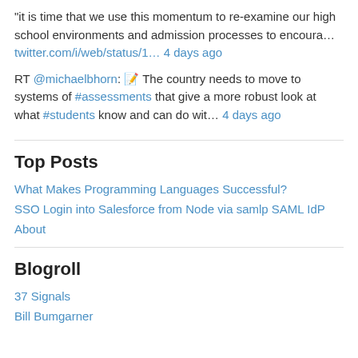“it is time that we use this momentum to re-examine our high school environments and admission processes to encoura… twitter.com/i/web/status/1… 4 days ago
RT @michaelbhorn: 📝 The country needs to move to systems of #assessments that give a more robust look at what #students know and can do wit… 4 days ago
Top Posts
What Makes Programming Languages Successful?
SSO Login into Salesforce from Node via samlp SAML IdP
About
Blogroll
37 Signals
Bill Bumgarner